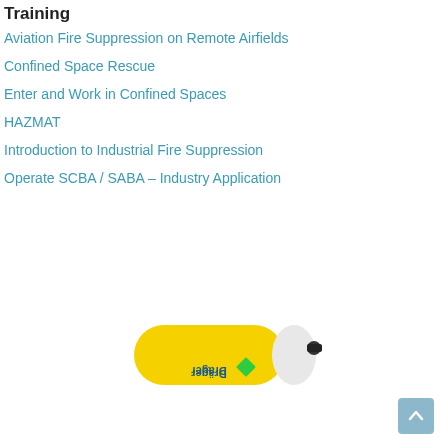Training
Aviation Fire Suppression on Remote Airfields
Confined Space Rescue
Enter and Work in Confined Spaces
HAZMAT
Introduction to Industrial Fire Suppression
Operate SCBA / SABA – Industry Application
[Figure (photo): A yellow and white Dräger compressed gas cylinder lying horizontally with a black regulator valve on the right end.]